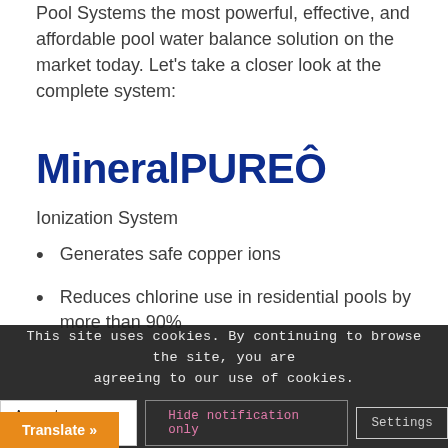Pool Systems the most powerful, effective, and affordable pool water balance solution on the market today. Let’s take a closer look at the complete system:
MineralPUREÔ
Ionization System
Generates safe copper ions
Reduces chlorine use in residential pools by more than 90%
This site uses cookies. By continuing to browse the site, you are agreeing to our use of cookies.
Accept settings  Hide notification only  Settings
Translate »